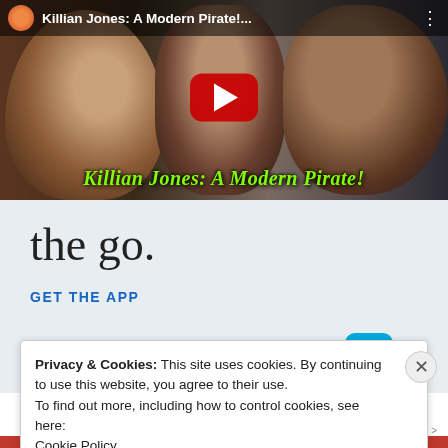[Figure (screenshot): YouTube video thumbnail for 'Killian Jones: A Modern Pirate!' showing three men in dark leather jackets, with a red YouTube play button in the center and the video title in green italic text at the bottom.]
[Figure (screenshot): Partial WordPress.com app advertisement showing the text 'the go.' in large serif font and a 'GET THE APP' link with the WordPress logo on a light blue-grey background.]
Privacy & Cookies: This site uses cookies. By continuing to use this website, you agree to their use. To find out more, including how to control cookies, see here: Cookie Policy
Close and accept